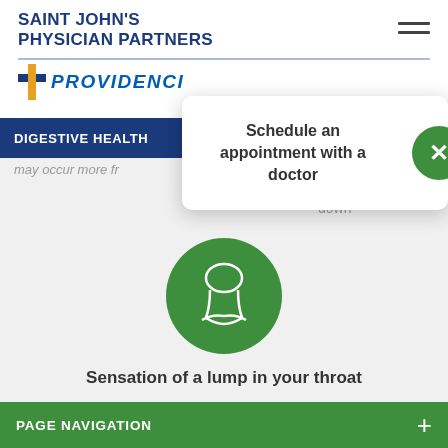SAINT JOHN'S PHYSICIAN PARTNERS
[Figure (logo): Providence logo with blue cross and PROVIDENCE text]
DIGESTIVE HEALTH
may occur more fr...
[Figure (screenshot): Popup card with text 'Schedule an appointment with a doctor' and green close button with X]
down
[Figure (illustration): Green circle icon with throat/lump illustration (white line drawing of throat area)]
Sensation of a lump in your throat
PAGE NAVIGATION +